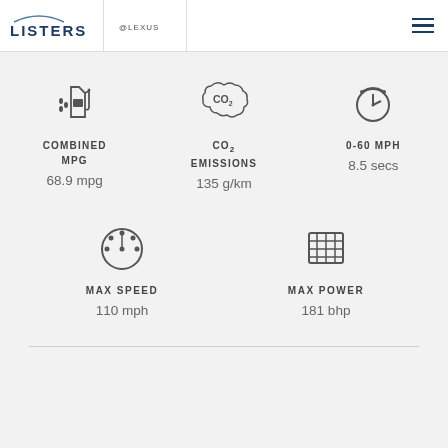LISTERS | LEXUS
COMBINED MPG
68.9 mpg
CO2 EMISSIONS
135 g/km
0-60 MPH
8.5 secs
MAX SPEED
110 mph
MAX POWER
181 bhp